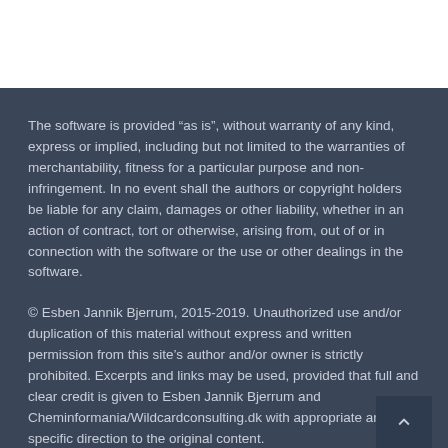The software is provided “as is”, without warranty of any kind, express or implied, including but not limited to the warranties of merchantability, fitness for a particular purpose and non-infringement. In no event shall the authors or copyright holders be liable for any claim, damages or other liability, whether in an action of contract, tort or otherwise, arising from, out of or in connection with the software or the use or other dealings in the software.
© Esben Jannik Bjerrum, 2015-2019. Unauthorized use and/or duplication of this material without express and written permission from this site’s author and/or owner is strictly prohibited. Excerpts and links may be used, provided that full and clear credit is given to Esben Jannik Bjerrum and Cheminformania/Wildcardconsulting.dk with appropriate and specific direction to the original content.